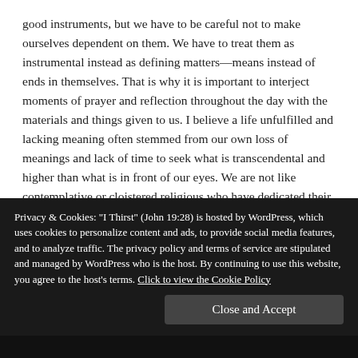good instruments, but we have to be careful not to make ourselves dependent on them. We have to treat them as instrumental instead as defining matters—means instead of ends in themselves. That is why it is important to interject moments of prayer and reflection throughout the day with the materials and things given to us. I believe a life unfulfilled and lacking meaning often stemmed from our own loss of meanings and lack of time to seek what is transcendental and higher than what is in front of our eyes. We are not like contemplative or cloistered religious who have dedicated their whole lives from the world to pray for us who are living in the world. However, we can all seek God and the transcendence in the midst of our worldly matters. It is perfectly possible for each and every one of us to find small moments
Privacy & Cookies: "I Thirst" (John 19:28) is hosted by WordPress, which uses cookies to personalize content and ads, to provide social media features, and to analyze traffic. The privacy policy and terms of service are stipulated and managed by WordPress who is the host. By continuing to use this website, you agree to the host's terms. Click to view the Cookie Policy